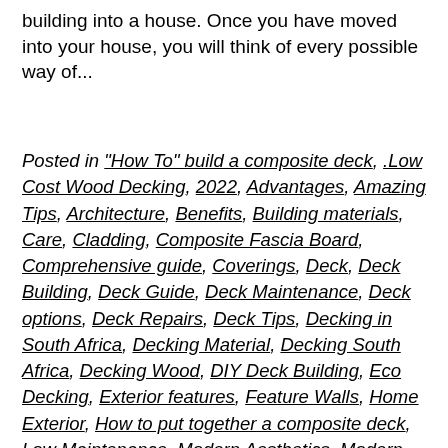building into a house. Once you have moved into your house, you will think of every possible way of...
Posted in "How To" build a composite deck, .Low Cost Wood Decking, 2022, Advantages, Amazing Tips, Architecture, Benefits, Building materials, Care, Cladding, Composite Fascia Board, Comprehensive guide, Coverings, Deck, Deck Building, Deck Guide, Deck Maintenance, Deck options, Deck Repairs, Deck Tips, Decking in South Africa, Decking Material, Decking South Africa, Decking Wood, DIY Deck Building, Eco Decking, Exterior features, Feature Walls, Home Exterior, How to put together a composite deck, Low Maintenance, Modern Aesthetics, Modern Home Cladding, Modern homes, Modern Outdoor Living, Outdoor Ideas, Purposes of Fascia Boards, South Africa, Splinter & Rot Free, The